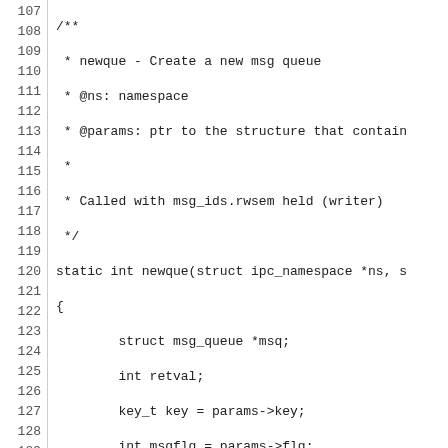[Figure (other): Source code listing (C language) showing lines 107-136 of a function newque that creates a new message queue, with line numbers on the left and code on the right.]